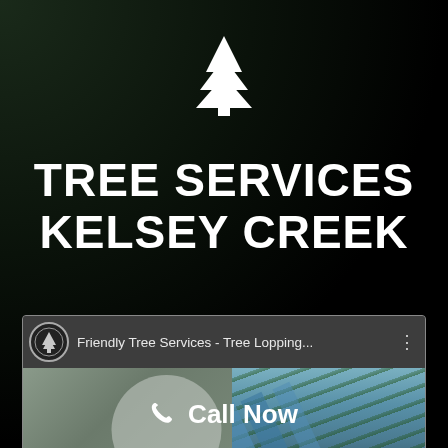[Figure (logo): White pine tree icon centered near top of dark background]
TREE SERVICES KELSEY CREEK
[Figure (screenshot): YouTube video thumbnail showing 'Friendly Tree Services - Tree Lopping...' with channel logo on left and palm tree image on right]
Call Now